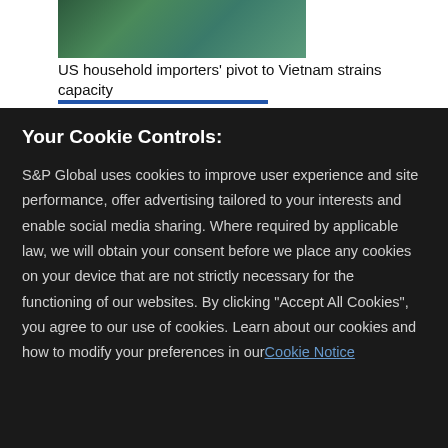[Figure (photo): Cropped photo showing a green surface, likely vegetation or packaging material related to a news article about Vietnam imports]
US household importers' pivot to Vietnam strains capacity
Your Cookie Controls:
S&P Global uses cookies to improve user experience and site performance, offer advertising tailored to your interests and enable social media sharing. Where required by applicable law, we will obtain your consent before we place any cookies on your device that are not strictly necessary for the functioning of our websites. By clicking "Accept All Cookies", you agree to our use of cookies. Learn about our cookies and how to modify your preferences in our Cookie Notice